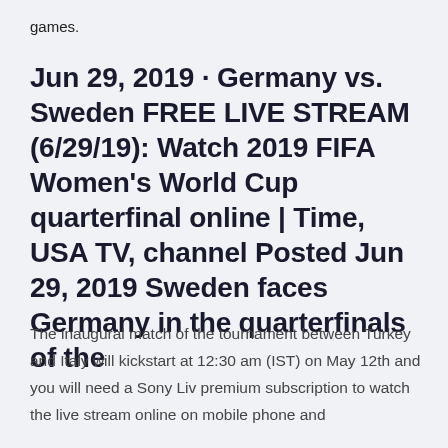games.
Jun 29, 2019 · Germany vs. Sweden FREE LIVE STREAM (6/29/19): Watch 2019 FIFA Women’s World Cup quarterfinal online | Time, USA TV, channel Posted Jun 29, 2019 Sweden faces Germany in the quarterfinals of the
The inaugural match of the tournament between Turkey and Italy will kickstart at 12:30 am (IST) on May 12th and you will need a Sony Liv premium subscription to watch the live stream online on mobile phone and